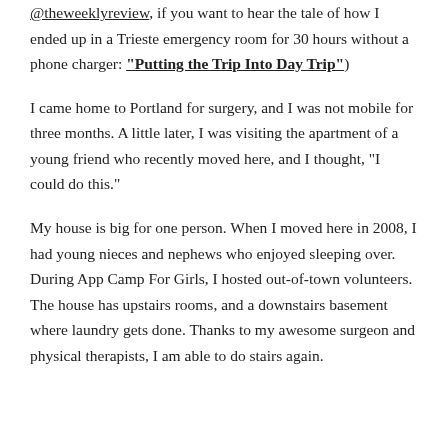@theweeklyreview, if you want to hear the tale of how I ended up in a Trieste emergency room for 30 hours without a phone charger: “Putting the Trip Into Day Trip”)
I came home to Portland for surgery, and I was not mobile for three months. A little later, I was visiting the apartment of a young friend who recently moved here, and I thought, “I could do this.”
My house is big for one person. When I moved here in 2008, I had young nieces and nephews who enjoyed sleeping over. During App Camp For Girls, I hosted out-of-town volunteers. The house has upstairs rooms, and a downstairs basement where laundry gets done. Thanks to my awesome surgeon and physical therapists, I am able to do stairs again.